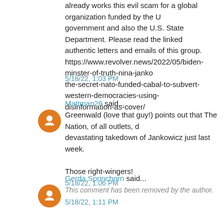already works this evil scam for a global organization funded by the U government and also the U.S. State Department. Please read the linked authentic letters and emails of this group. https://www.revolver.news/2022/05/biden-minster-of-truth-nina-janko the-secret-nato-funded-cabal-to-subvert-western-democracies-using-disinformation-as-cover/
5/18/22, 1:03 PM
Mattman26 said...
Greenwald (love that guy!) points out that The Nation, of all outlets, d devastating takedown of Jankowicz just last week.

Those right-wingers!
5/18/22, 1:06 PM
Gerda Sprinchorn said...
This comment has been removed by the author.
5/18/22, 1:11 PM